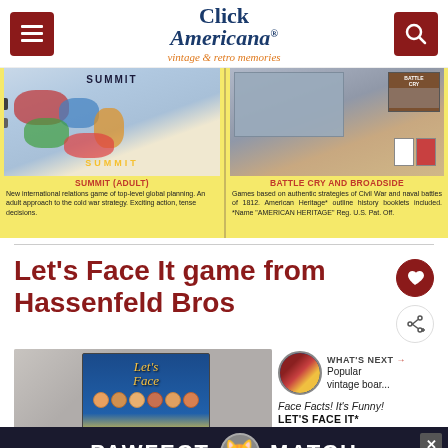Click Americana — vintage & retro memories
[Figure (photo): Vintage board game advertisement showing Summit and Battle Cry/Broadside games on yellow background with game descriptions]
SUMMIT (Adult) — New international relations game of top-level global planning. An adult approach to the cold war strategy. Exciting action, tense decisions. | BATTLE CRY and BROADSIDE — Games based on authentic strategies of Civil War and naval battles of 1812. American Heritage* outline history booklets included. *Name 'AMERICAN HERITAGE' Reg. U.S. Pat. Off.
Let's Face It game from Hassenfeld Bros
[Figure (photo): Let's Face It board game box art showing faces and text]
WHAT'S NEXT → Popular vintage boar...
Face Facts! It's Funny!
LET'S FACE IT*
[Figure (advertisement): PAWFECT MATCH advertisement banner with cat face icon]